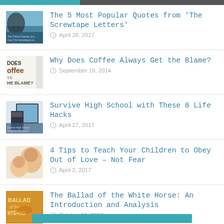The 5 Most Popular Quotes from 'The Screwtape Letters' — April 28, 2017
Why Does Coffee Always Get the Blame? — September 19, 2014
Survive High School with These 8 Life Hacks — April 27, 2017
4 Tips to Teach Your Children to Obey Out of Love – Not Fear — April 2, 2017
The Ballad of the White Horse: An Introduction and Analysis — October 11, 2013